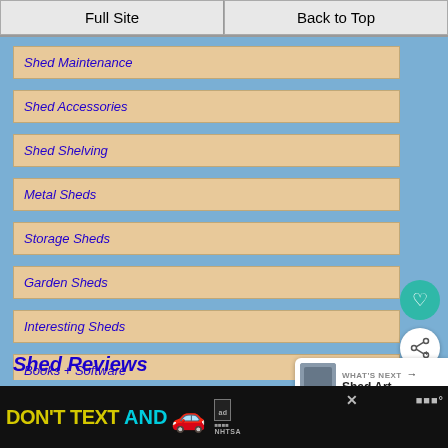Full Site | Back to Top
Shed Maintenance
Shed Accessories
Shed Shelving
Metal Sheds
Storage Sheds
Garden Sheds
Interesting Sheds
Books + Software
Shed Links
Shed Reviews
[Figure (other): Navigation overlay: WHAT'S NEXT -> Shed Art thumbnail]
[Figure (other): Advertisement banner: DON'T TEXT AND [car emoji] with NHTSA logo]